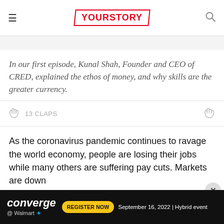YOURSTORY
In our first episode, Kunal Shah, Founder and CEO of CRED, explained the ethos of money, and why skills are the greater currency.
13 CLAPS
As the coronavirus pandemic continues to ravage the world economy, people are losing their jobs while many others are suffering pay cuts. Markets are down
[Figure (other): Converge @ Walmart ad banner with REGISTER NOW button, September 16, 2022 | Hybrid event]